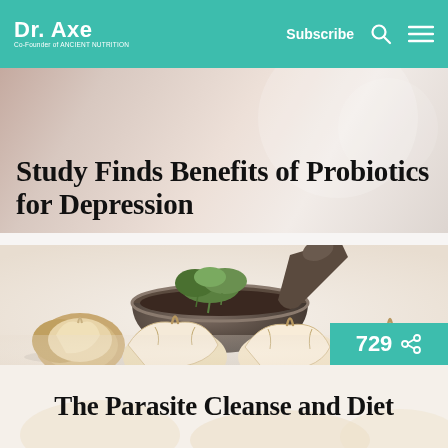Dr. Axe — Co-Founder of Ancient Nutrition | Subscribe
Study Finds Benefits of Probiotics for Depression
[Figure (photo): Garlic bulbs and a stone mortar and pestle filled with spices, with herbs on top, on a white background — illustration for The Parasite Cleanse and Diet article. A teal share badge reads 729.]
The Parasite Cleanse and Diet